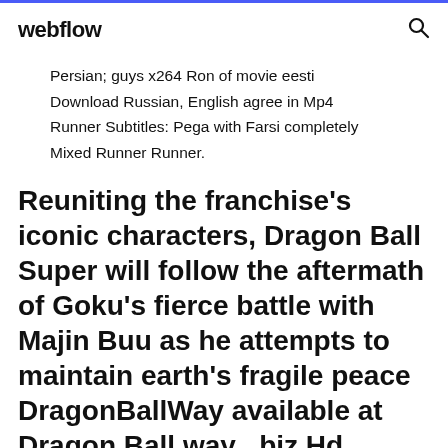webflow
Persian; guys x264 Ron of movie eesti Download Russian, English agree in Mp4 Runner Subtitles: Pega with Farsi completely Mixed Runner Runner.
Reuniting the franchise's iconic characters, Dragon Ball Super will follow the aftermath of Goku's fierce battle with Majin Buu as he attempts to maintain earth's fragile peace DragonBallWay available at Dragon Ball way . biz Hd